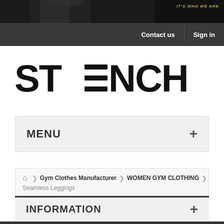[Figure (photo): Dark hero banner with a muscular athlete figure and gold italic text reading 'IT'S WHO WE ARE']
Contact us   Sign in
[Figure (logo): STRENCH brand logo in large bold black letters with double horizontal lines replacing the letter E]
MENU +
Home > Gym Clothes Manufacturer > WOMEN GYM CLOTHING > Seamless Leggings
INFORMATION +